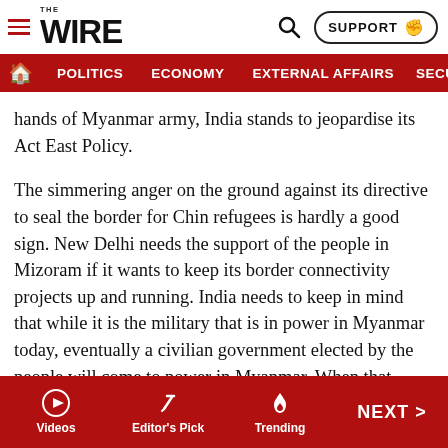THE WIRE | POLITICS | ECONOMY | EXTERNAL AFFAIRS | SECU...
hands of Myanmar army, India stands to jeopardise its Act East Policy.
The simmering anger on the ground against its directive to seal the border for Chin refugees is hardly a good sign. New Delhi needs the support of the people in Mizoram if it wants to keep its border connectivity projects up and running. India needs to keep in mind that while it is the military that is in power in Myanmar today, eventually a civilian government elected by the people will come to power in Myanmar. When that happens, India, to its own detriment, might find itself in a vortex of negative public opinion, particularly in Chin state, which is of particular
Videos | Editor's Pick | Trending | NEXT >